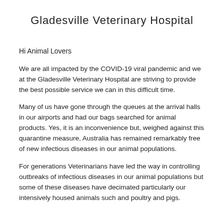Gladesville Veterinary Hospital
Hi Animal Lovers
We are all impacted by the COVID-19 viral pandemic and we at the Gladesville Veterinary Hospital are striving to provide the best possible service we can in this difficult time.
Many of us have gone through the queues at the arrival halls in our airports and had our bags searched for animal products. Yes, it is an inconvenience but, weighed against this quarantine measure, Australia has remained remarkably free of new infectious diseases in our animal populations.
For generations Veterinarians have led the way in controlling outbreaks of infectious diseases in our animal populations but some of these diseases have decimated particularly our intensively housed animals such and poultry and pigs.